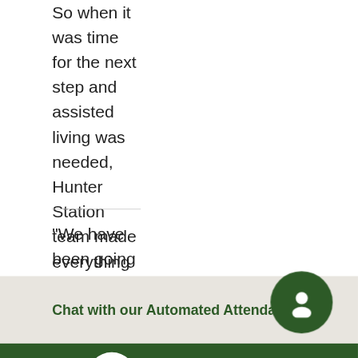So when it was time for the next step and assisted living was needed, Hunter Station team made everything so easy for us. She enjoys staying in her community, also enjoying be cared and pampered for. Everyone has made her feel so much better." Debbie G. (SeniorAdvisor.com)
"We have been going back and forth with our other ideas and...
Chat with our Automated Attendant!
Schedule a Tour